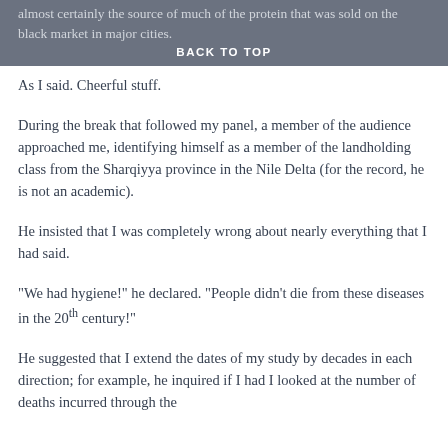almost certainly the source of much of the protein that was sold on the black market in major cities.
BACK TO TOP
As I said. Cheerful stuff.
During the break that followed my panel, a member of the audience approached me, identifying himself as a member of the landholding class from the Sharqiyya province in the Nile Delta (for the record, he is not an academic).
He insisted that I was completely wrong about nearly everything that I had said.
“We had hygiene!” he declared. “People didn’t die from these diseases in the 20th century!”
He suggested that I extend the dates of my study by decades in each direction; for example, he inquired if I had I looked at the number of deaths incurred through the